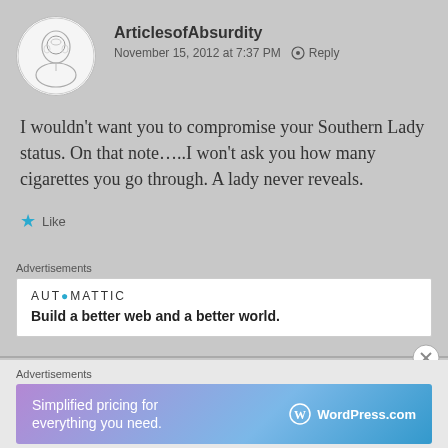[Figure (illustration): Circular avatar showing a sketch/line-art portrait of a woman]
ArticlesofAbsurdity
November 15, 2012 at 7:37 PM  Reply
I wouldn't want you to compromise your Southern Lady status. On that note…..I won't ask you how many cigarettes you go through. A lady never reveals.
Like
Advertisements
[Figure (logo): Automattic logo with blue dot]
Build a better web and a better world.
Advertisements
[Figure (infographic): WordPress.com advertisement banner with gradient background reading: Simplified pricing for everything you need. WordPress.com]